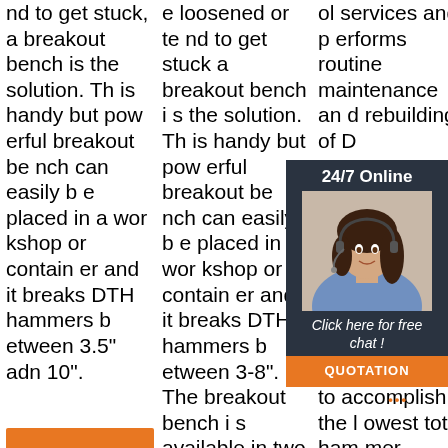nd to get stuck, a breakout bench is the solution. This handy but powerful breakout bench can easily be placed in a workshop or container and it breaks DTH hammers between 3.5" adn 10".
e loosened or tend to get stuck and breakout bench is the solution. This handy but powerful breakout bench can easily be placed in a workshop or container and it breaks DTH hammers between 3-8". The breakout bench is available in two designs. NOTE!
ol services and performs routine maintenance and rebuilding of DTH...
[Figure (photo): 24/7 Online chat widget with woman wearing headset. Includes 'Click here for free chat!' text and QUOTATION button.]
Get Price
Get Price (bottom col 2)